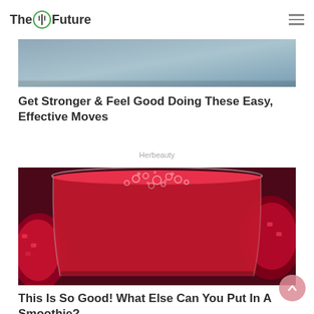The Future
[Figure (photo): Partial top image visible at the top of content area (cropped fitness/exercise photo)]
Get Stronger & Feel Good Doing These Easy, Effective Moves
Herbeauty
[Figure (photo): Close-up photo of a red smoothie/juice in a glass jar, seen from above, with bubbles on the surface and pomegranate pieces visible in background]
This Is So Good! What Else Can You Put In A Smoothie?
Herbeauty